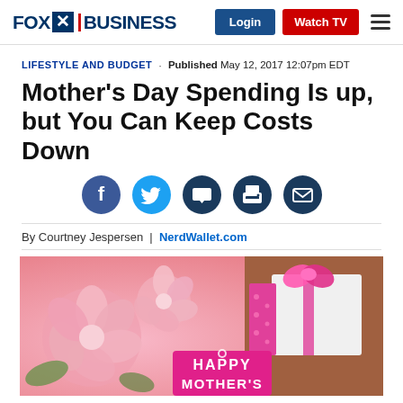FOX BUSINESS — Login | Watch TV
LIFESTYLE AND BUDGET · Published May 12, 2017 12:07pm EDT
Mother's Day Spending Is up, but You Can Keep Costs Down
[Figure (infographic): Social media sharing icons: Facebook, Twitter, Comment, Print, Email]
By Courtney Jespersen | NerdWallet.com
[Figure (photo): Photo of pink roses/peonies with a pink gift box with bow and a pink tag reading HAPPY MOTHER'S]